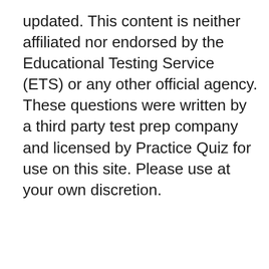updated. This content is neither affiliated nor endorsed by the Educational Testing Service (ETS) or any other official agency. These questions were written by a third party test prep company and licensed by Practice Quiz for use on this site. Please use at your own discretion.